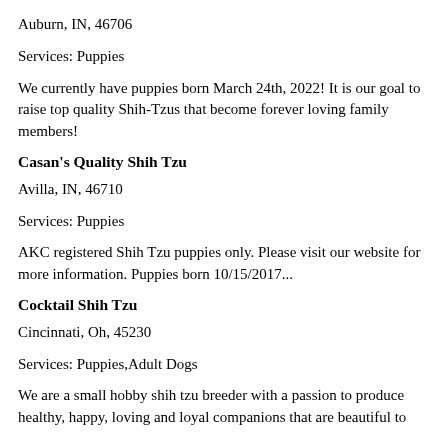Auburn, IN, 46706
Services: Puppies
We currently have puppies born March 24th, 2022! It is our goal to raise top quality Shih-Tzus that become forever loving family members!
Casan's Quality Shih Tzu
Avilla, IN, 46710
Services: Puppies
AKC registered Shih Tzu puppies only. Please visit our website for more information. Puppies born 10/15/2017...
Cocktail Shih Tzu
Cincinnati, Oh, 45230
Services: Puppies,Adult Dogs
We are a small hobby shih tzu breeder with a passion to produce healthy, happy, loving and loyal companions that are beautiful to